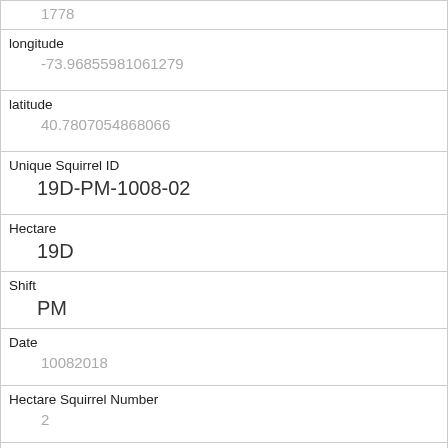| 1778 |
| longitude | -73.968559810612​79 |
| latitude | 40.7807054868066 |
| Unique Squirrel ID | 19D-PM-1008-02 |
| Hectare | 19D |
| Shift | PM |
| Date | 10082018 |
| Hectare Squirrel Number | 2 |
| Age |  |
| Primary Fur Color |  |
| Highlight Fur Color |  |